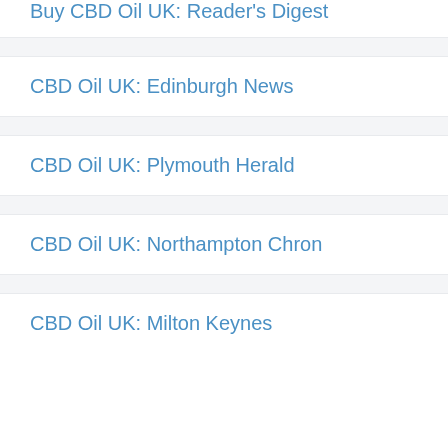Buy CBD Oil UK: Reader's Digest
CBD Oil UK: Edinburgh News
CBD Oil UK: Plymouth Herald
CBD Oil UK: Northampton Chron
CBD Oil UK: Milton Keynes